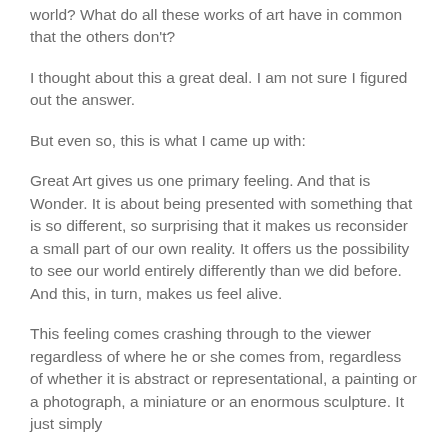world? What do all these works of art have in common that the others don't?
I thought about this a great deal. I am not sure I figured out the answer.
But even so, this is what I came up with:
Great Art gives us one primary feeling. And that is Wonder. It is about being presented with something that is so different, so surprising that it makes us reconsider a small part of our own reality. It offers us the possibility to see our world entirely differently than we did before. And this, in turn, makes us feel alive.
This feeling comes crashing through to the viewer regardless of where he or she comes from, regardless of whether it is abstract or representational, a painting or a photograph, a miniature or an enormous sculpture. It just simply